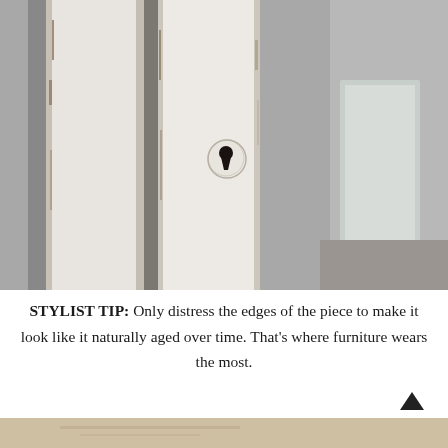[Figure (photo): Close-up photograph of white-painted wooden furniture panels showing distressed edges and an antique keyhole detail. The wood has visible aging marks and paint wear along the edges. Background shows a room interior.]
STYLIST TIP: Only distress the edges of the piece to make it look like it naturally aged over time. That’s where furniture wears the most.
[Figure (photo): Partial bottom photograph showing a light-colored surface, partially visible.]